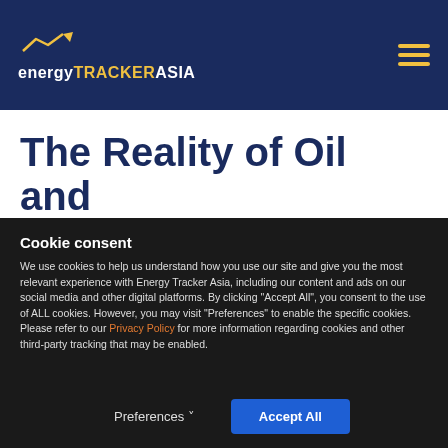energyTRACKERASIA
The Reality of Oil and
Cookie consent
We use cookies to help us understand how you use our site and give you the most relevant experience with Energy Tracker Asia, including our content and ads on our social media and other digital platforms. By clicking “Accept All”, you consent to the use of ALL cookies. However, you may visit “Preferences” to enable the specific cookies. Please refer to our Privacy Policy for more information regarding cookies and other third-party tracking that may be enabled.